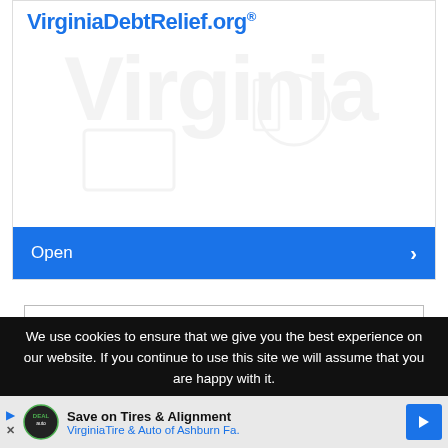[Figure (screenshot): Advertisement card for VirginiaDebtRelief.org with blue site name, faint watermark text in background, and blue Open button with right arrow at bottom]
Open
View comments
[Figure (other): Loading spinner - partial grey arc shown at bottom of page]
We use cookies to ensure that we give you the best experience on our website. If you continue to use this site we will assume that you are happy with it.
[Figure (screenshot): Bottom advertisement banner: Save on Tires & Alignment - VirginiaTire & Auto of Ashburn Fa. with logo and navigation arrow]